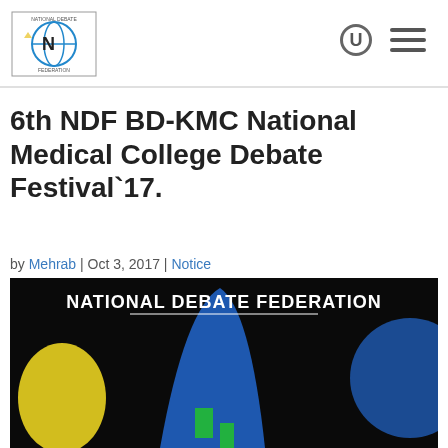NDF Logo | Search | Menu
6th NDF BD-KMC National Medical College Debate Festival`17.
by Mehrab | Oct 3, 2017 | Notice
[Figure (photo): National Debate Federation banner image with text 'NATIONAL DEBATE FEDERATION' on black background with colorful abstract shapes in yellow, blue, and green]